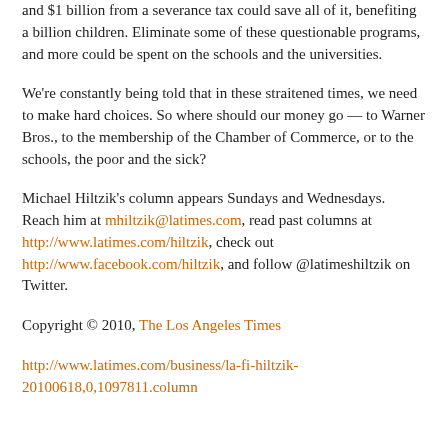and $1 billion from a severance tax could save all of it, benefiting a billion children. Eliminate some of these questionable programs, and more could be spent on the schools and the universities.
We're constantly being told that in these straitened times, we need to make hard choices. So where should our money go — to Warner Bros., to the membership of the Chamber of Commerce, or to the schools, the poor and the sick?
Michael Hiltzik's column appears Sundays and Wednesdays. Reach him at mhiltzik@latimes.com, read past columns at http://www.latimes.com/hiltzik, check out http://www.facebook.com/hiltzik, and follow @latimeshiltzik on Twitter.
Copyright © 2010, The Los Angeles Times
http://www.latimes.com/business/la-fi-hiltzik-20100618,0,1097811.column